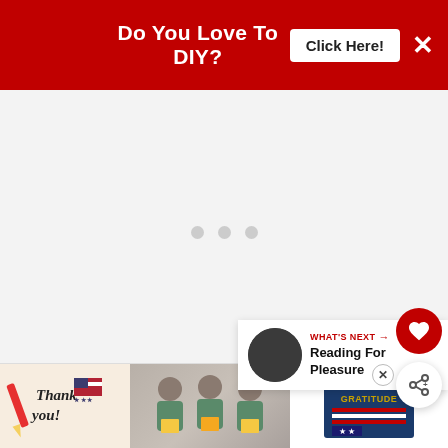Do You Love To DIY?  Click Here!  ×
[Figure (screenshot): Large white/light gray empty content area with three small gray loading dots centered, representing a loading web page content area]
[Figure (infographic): Side action buttons: red circular heart/like button and white circular share button]
[Figure (infographic): WHAT'S NEXT panel with thumbnail and title: Reading For Pleasure]
[Figure (photo): Bottom advertisement banner: Operation Gratitude thank you ad with nurses/healthcare workers holding cards, pencil graphic, Thank you text, and Operation Gratitude logo]